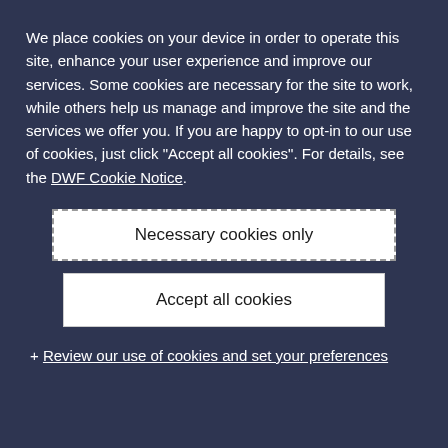We place cookies on your device in order to operate this site, enhance your user experience and improve our services. Some cookies are necessary for the site to work, while others help us manage and improve the site and the services we offer you. If you are happy to opt-in to our use of cookies, just click "Accept all cookies". For details, see the DWF Cookie Notice.
Necessary cookies only
Accept all cookies
+ Review our use of cookies and set your preferences
needs to be taken to such risk assessments.
Employers should consider whether they have a contractual right to require the employee to work flexibly.  Employment contracts should be reviewed to